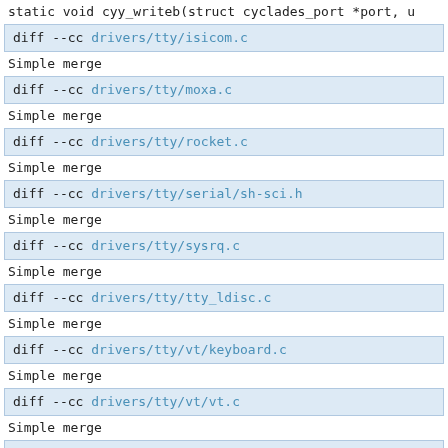static void cyy_writeb(struct cyclades_port *port, u
diff --cc drivers/tty/isicom.c
Simple merge
diff --cc drivers/tty/moxa.c
Simple merge
diff --cc drivers/tty/rocket.c
Simple merge
diff --cc drivers/tty/serial/sh-sci.h
Simple merge
diff --cc drivers/tty/sysrq.c
Simple merge
diff --cc drivers/tty/tty_ldisc.c
Simple merge
diff --cc drivers/tty/vt/keyboard.c
Simple merge
diff --cc drivers/tty/vt/vt.c
Simple merge
diff --cc fs/proc/proc_tty.c